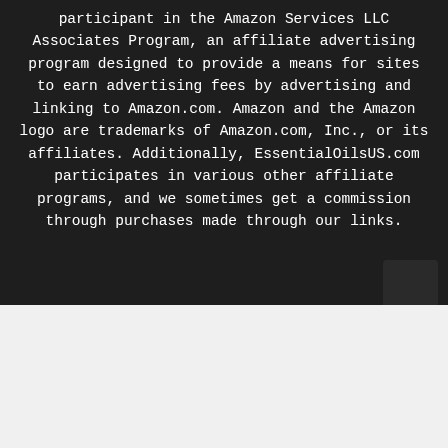participant in the Amazon Services LLC Associates Program, an affiliate advertising program designed to provide a means for sites to earn advertising fees by advertising and linking to Amazon.com. Amazon and the Amazon logo are trademarks of Amazon.com, Inc., or its affiliates. Additionally, EssentialOilsUS.com participates in various other affiliate programs, and we sometimes get a commission through purchases made through our links.